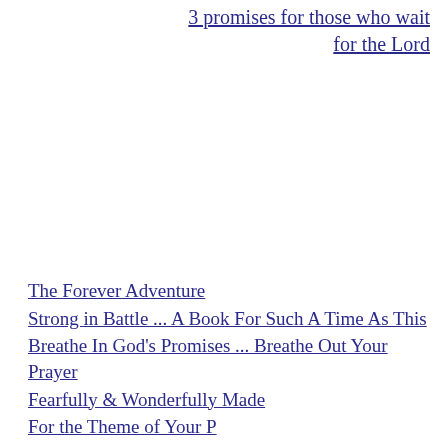3 promises for those who wait for the Lord
The Forever Adventure
Strong in Battle ... A Book For Such A Time As This
Breathe In God's Promises ... Breathe Out Your Prayer
Fearfully & Wonderfully Made
For the Theme of Your Prayer